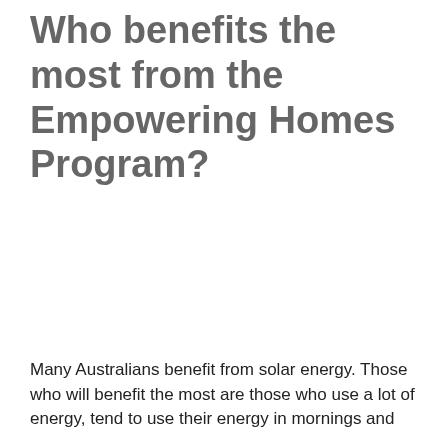Who benefits the most from the Empowering Homes Program?
Many Australians benefit from solar energy. Those who will benefit the most are those who use a lot of energy, tend to use their energy in mornings and